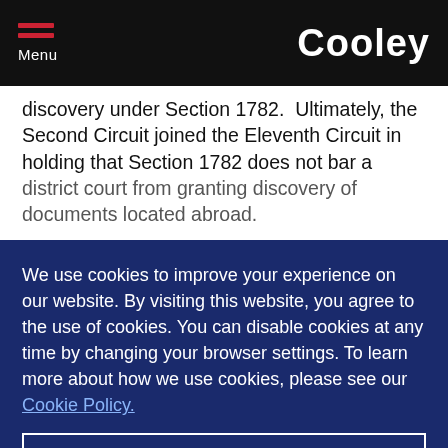Menu | Cooley
discovery under Section 1782.  Ultimately, the Second Circuit joined the Eleventh Circuit in holding that Section 1782 does not bar a district court from granting discovery of documents located abroad.
The Second Circuit reasoned that a nontextual extraterritorial limitation on Section 1782, the "located-abroad limitation," and that incorporation of the Federal Rules of Civil Procedure, which allow for extraterritorial ... that no bar existed to the discovery of documents located overseas.8 Instead, the Second Circuit
We use cookies to improve your experience on our website. By visiting this website, you agree to the use of cookies. You can disable cookies at any time by changing your browser settings. To learn more about how we use cookies, please see our Cookie Policy.
Dismiss